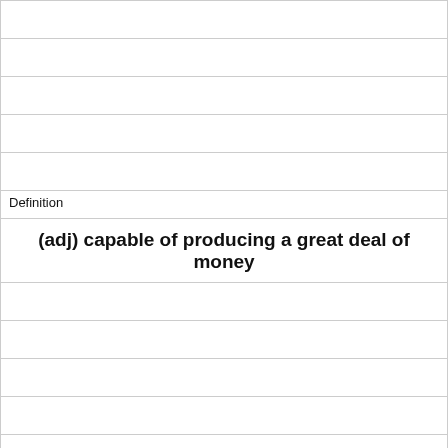Definition
(adj) capable of producing a great deal of money
Term
skeptical